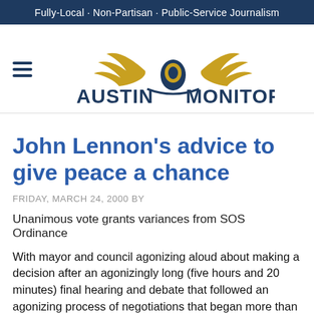Fully-Local · Non-Partisan · Public-Service Journalism
[Figure (logo): Austin Monitor logo with winged emblem above the text AUSTIN MONITOR, with hamburger menu icon to the left]
John Lennon's advice to give peace a chance
FRIDAY, MARCH 24, 2000 BY
Unanimous vote grants variances from SOS Ordinance
With mayor and council agonizing aloud about making a decision after an agonizingly long (five hours and 20 minutes) final hearing and debate that followed an agonizing process of negotiations that began more than eight months ago ( In Fact Daily, Aug. 13, 1999), the City